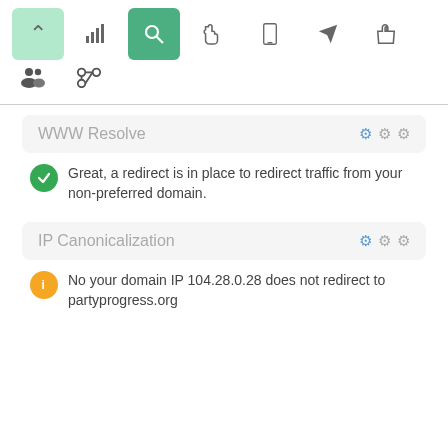[Figure (screenshot): Navigation toolbar with icons: up arrow (light green active), bar chart, search/magnifier (dark green active), hand pointer, mobile phone, paper plane, thumbs up]
[Figure (screenshot): Second toolbar row with two icons: group of people, chain links]
WWW Resolve
Great, a redirect is in place to redirect traffic from your non-preferred domain.
IP Canonicalization
No your domain IP 104.28.0.28 does not redirect to partyprogress.org